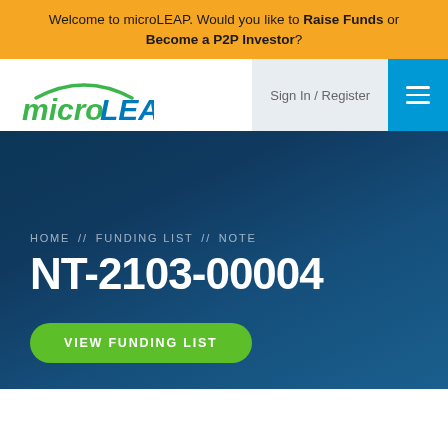Welcome to microLEAP. Would you like to Raise Funds or Become a P2P Investor?
[Figure (logo): microLEAP logo with green arc and italic text 'micro' in green and 'LEAP' in blue]
Sign In / Register
HOME // FUNDING LIST // NOTE
NT-2103-00004
VIEW FUNDING LIST